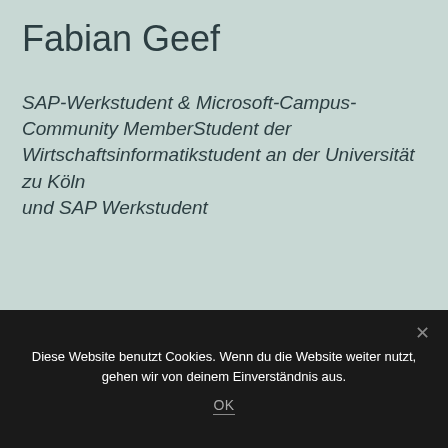Fabian Geef
SAP-Werkstudent & Microsoft-Campus-Community MemberStudent der Wirtschaftsinformatikstudent an der Universität zu Köln
und SAP Werkstudent
[Figure (illustration): Azure Saturday Cologne banner with network node graphic (connected dots in light blue and dark blue on a light background)]
Diese Website benutzt Cookies. Wenn du die Website weiter nutzt, gehen wir von deinem Einverständnis aus.
OK